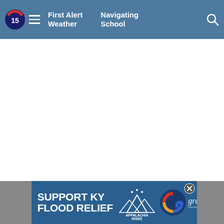First Alert Weather  Navigating School
[Figure (screenshot): White empty content area]
[Figure (infographic): SUPPORT KY FLOOD RELIEF advertisement banner with Appalachia Rises and Gray Television logos]